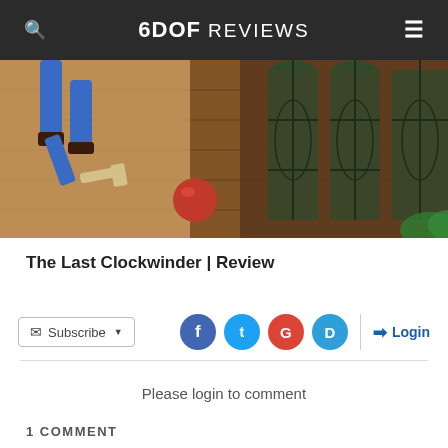6DOF REVIEWS
[Figure (screenshot): A game screenshot showing an animated character holding tools near a brick wall with arched stained glass windows and a red orb on the ground.]
The Last Clockwinder | Review
Subscribe | Social icons: Facebook, Twitter, Google, Disqus | Login
Please login to comment
1 COMMENT